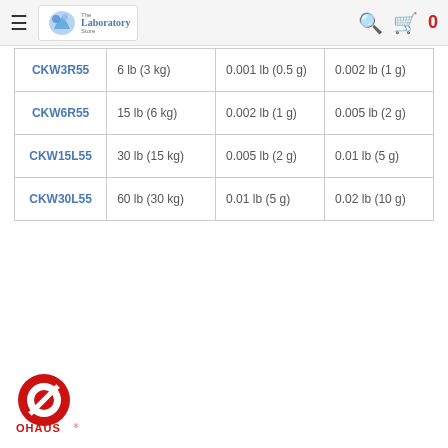The Laboratory Store — navigation bar with logo, search, and cart
| CKW3R55 | 6 lb (3 kg) | 0.001 lb (0.5 g) | 0.002 lb (1 g) |
| CKW6R55 | 15 lb (6 kg) | 0.002 lb (1 g) | 0.005 lb (2 g) |
| CKW15L55 | 30 lb (15 kg) | 0.005 lb (2 g) | 0.01 lb (5 g) |
| CKW30L55 | 60 lb (30 kg) | 0.01 lb (5 g) | 0.02 lb (10 g) |
[Figure (logo): OHAUS brand logo — red circle with white O mark and OHAUS text below]